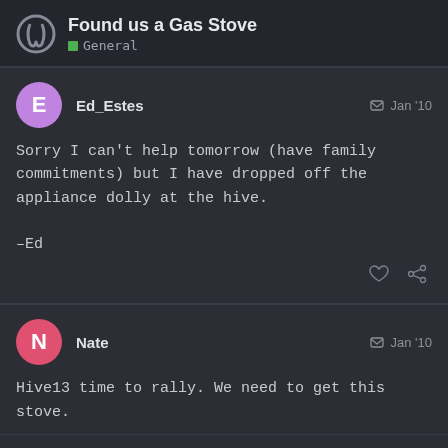Found us a Gas Stove — General
Ed_Estes  Jan '10

Sorry I can't help tomorrow (have family commitments) but I have dropped off the appliance dolly at the hive.

–Ed
Nate  Jan '10

Hive13 time to rally. We need to get this stove.